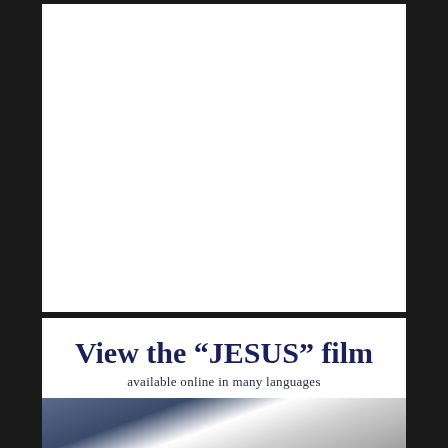[Figure (photo): Top white panel — appears to be a blank or image area (photo content not visible)]
View the “JESUS” film
available online in many languages
[Figure (photo): Bottom portion showing partial image of what appears to be a book or device with hands]